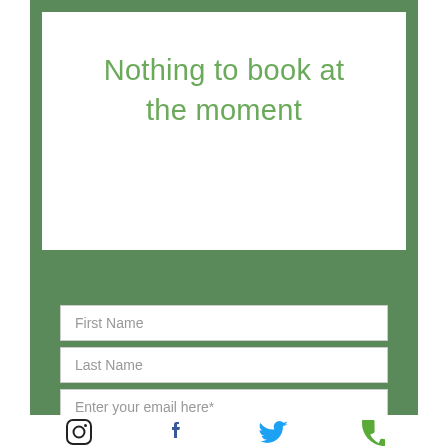Nothing to book at the moment
First Name
Last Name
Enter your email here*
Subscribe to the newsletter